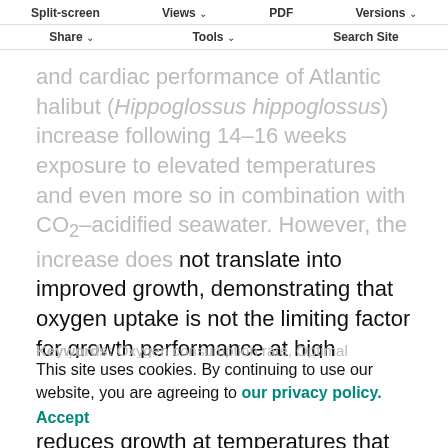Split-screen | Views | PDF | Versions | Share | Tools | Search Site
and cardiac performance of Atlantic halibut (Hippoglossus hippoglossus) increase following 14–16 weeks exposure to elevated temperatures and even more so in combination with CO₂-acidified seawater. However, the increase does not translate into improved growth, demonstrating that oxygen uptake is not the limiting factor for growth performance at high temperatures. Instead, long-term exposure to CO₂-acidified seawater reduces growth at temperatures that are frequently encountered by this species in nature, indicating that elevated atmospheric CO₂ levels may have serious implications on fish populations in the future.
Keywords: Oxygen consumption rate, Optimal temperature, Aerobic scope, Gill oxygen uptake, Optimal CLTT, Carbon dioxide
This site uses cookies. By continuing to use our website, you are agreeing to our privacy policy. Accept